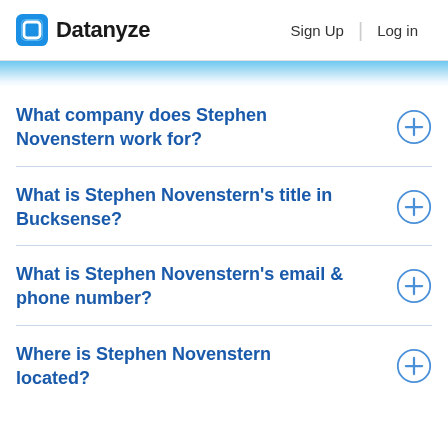Datanyze  Sign Up  Log in
What company does Stephen Novenstern work for?
What is Stephen Novenstern’s title in Bucksense?
What is Stephen Novenstern’s email & phone number?
Where is Stephen Novenstern located?